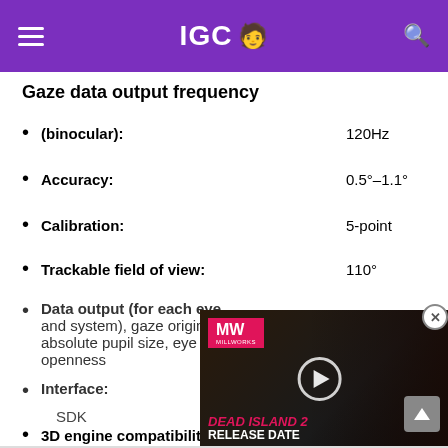IGC
Gaze data output frequency
(binocular): 120Hz
Accuracy: 0.5°–1.1°
Calibration: 5-point
Trackable field of view: 110°
Data output (for each eye and system), gaze origin, gaze absolute pupil size, eye openness
Interface: SDK
3D engine compatibility: Unity, Unreal
[Figure (screenshot): Dead Island 2 Release Date video advertisement overlay with MW logo]